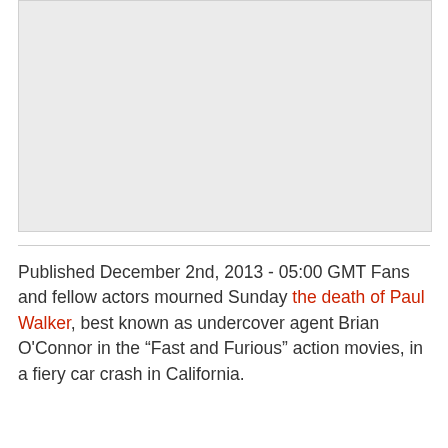[Figure (photo): A light gray rectangular placeholder image area at the top of the page.]
Published December 2nd, 2013 - 05:00 GMT Fans and fellow actors mourned Sunday the death of Paul Walker, best known as undercover agent Brian O'Connor in the “Fast and Furious” action movies, in a fiery car crash in California.